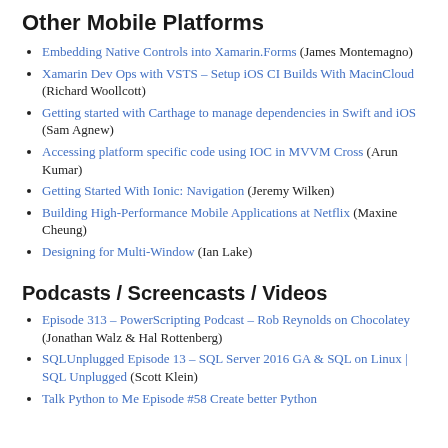Other Mobile Platforms
Embedding Native Controls into Xamarin.Forms (James Montemagno)
Xamarin Dev Ops with VSTS – Setup iOS CI Builds With MacinCloud (Richard Woollcott)
Getting started with Carthage to manage dependencies in Swift and iOS (Sam Agnew)
Accessing platform specific code using IOC in MVVM Cross (Arun Kumar)
Getting Started With Ionic: Navigation (Jeremy Wilken)
Building High-Performance Mobile Applications at Netflix (Maxine Cheung)
Designing for Multi-Window (Ian Lake)
Podcasts / Screencasts / Videos
Episode 313 – PowerScripting Podcast – Rob Reynolds on Chocolatey (Jonathan Walz & Hal Rottenberg)
SQLUnplugged Episode 13 – SQL Server 2016 GA & SQL on Linux | SQL Unplugged (Scott Klein)
Talk Python to Me Episode #58 Create better Python